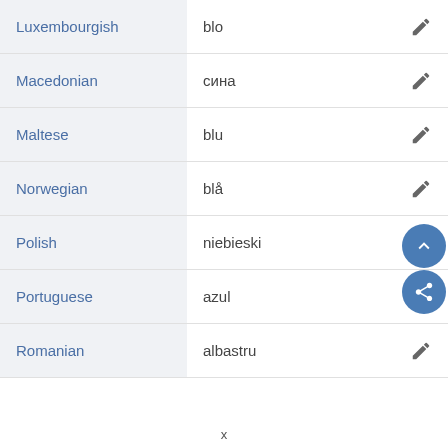| Language | Translation |  |
| --- | --- | --- |
| Luxembourgish | blo |  |
| Macedonian | сина |  |
| Maltese | blu |  |
| Norwegian | blå |  |
| Polish | niebieski |  |
| Portuguese | azul |  |
| Romanian | albastru |  |